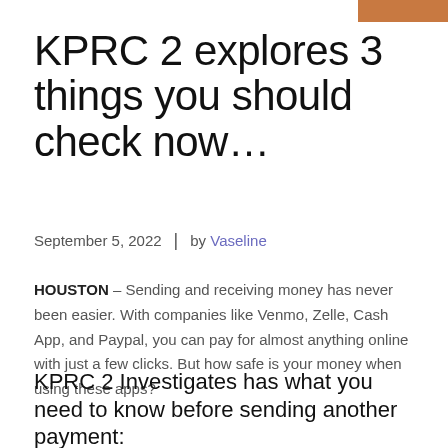[Figure (photo): Partial photo visible in top-right corner]
KPRC 2 explores 3 things you should check now…
September 5, 2022  |  by Vaseline
HOUSTON – Sending and receiving money has never been easier. With companies like Venmo, Zelle, Cash App, and Paypal, you can pay for almost anything online with just a few clicks. But how safe is your money when using these apps?
KPRC 2 Investigates has what you need to know before sending another payment: